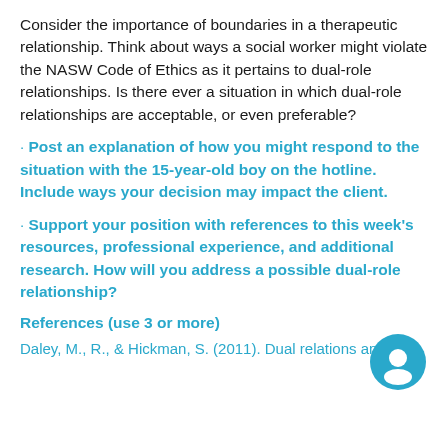Consider the importance of boundaries in a therapeutic relationship. Think about ways a social worker might violate the NASW Code of Ethics as it pertains to dual-role relationships. Is there ever a situation in which dual-role relationships are acceptable, or even preferable?
· Post an explanation of how you might respond to the situation with the 15-year-old boy on the hotline. Include ways your decision may impact the client.
· Support your position with references to this week's resources, professional experience, and additional research. How will you address a possible dual-role relationship?
References (use 3 or more)
Daley, M., R., & Hickman, S. (2011). Dual relations and